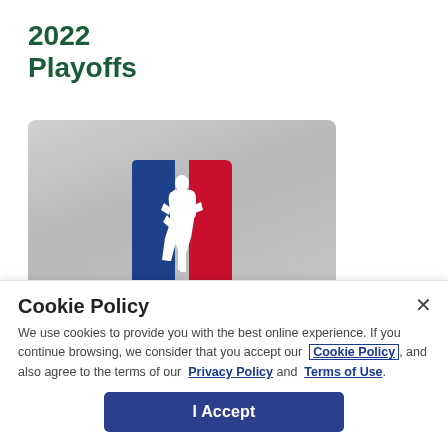2022 Playoffs
[Figure (screenshot): NBA card with NBA logo (silhouette player with blue and red background) on a gray gradient card. A second partially visible gray card appears to the right.]
Cookie Policy
We use cookies to provide you with the best online experience. If you continue browsing, we consider that you accept our Cookie Policy, and also agree to the terms of our Privacy Policy and Terms of Use.
I Accept